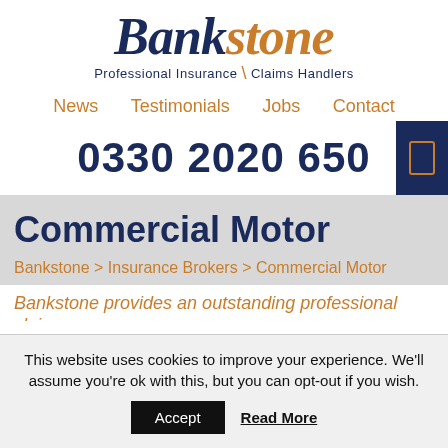[Figure (logo): Bankstone logo with 'Bank' in dark navy serif italic and 'stone' in orange serif italic, tagline 'Professional Insurance Claims Handlers']
News   Testimonials   Jobs   Contact
0330 2020 650
Commercial Motor
Bankstone > Insurance Brokers > Commercial Motor
Bankstone provides an outstanding professional claims
This website uses cookies to improve your experience. We'll assume you're ok with this, but you can opt-out if you wish.